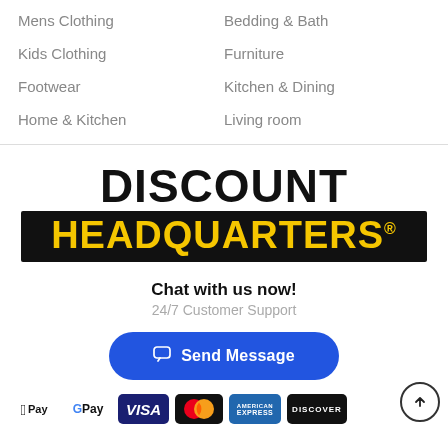Mens Clothing
Kids Clothing
Footwear
Home & Kitchen
Bedding & Bath
Furniture
Kitchen & Dining
Living room
[Figure (logo): Discount Headquarters logo — DISCOUNT in large black text above HEADQUARTERS in yellow on black background]
Chat with us now!
24/7 Customer Support
Send Message
[Figure (illustration): Payment method icons: Apple Pay, Google Pay, Visa, Mastercard, American Express, Discover]